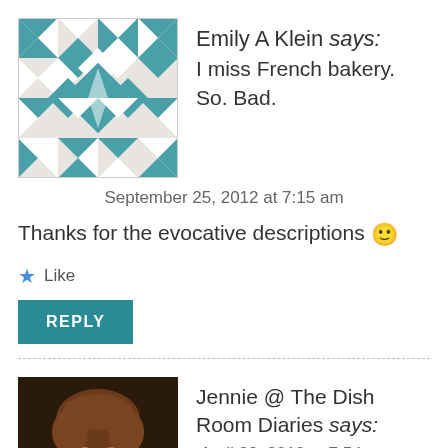Emily A Klein says:
I miss French bakery. So. Bad.
September 25, 2012 at 7:15 am
Thanks for the evocative descriptions 🙂
Like
REPLY
Jennie @ The Dish Room Diaries says:
April 28, 2013 at 7:54 am
We are looking